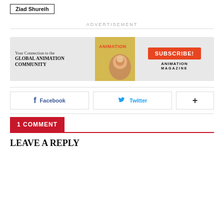Ziad Shureih
ADVERTISEMENT
[Figure (illustration): Animation Magazine advertisement banner showing magazine cover, text 'Your Connection to the GLOBAL ANIMATION COMMUNITY', a Subscribe button in red, and Animation Magazine logo.]
Facebook
Twitter
+
1 COMMENT
LEAVE A REPLY